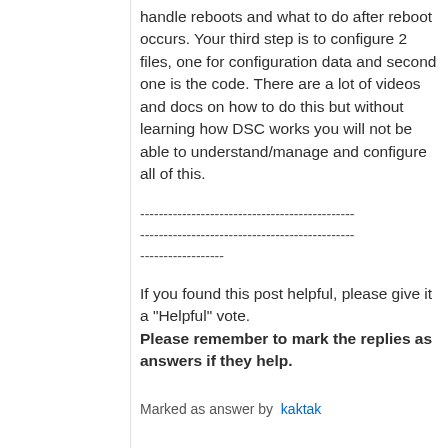handle reboots and what to do after reboot occurs. Your third step is to configure 2 files, one for configuration data and second one is the code. There are a lot of videos and docs on how to do this but without learning how DSC works you will not be able to understand/manage and configure all of this.
----------------------------------------------
----------------------------------------------
------------------
If you found this post helpful, please give it a "Helpful" vote. Please remember to mark the replies as answers if they help.
Marked as answer by  kaktak